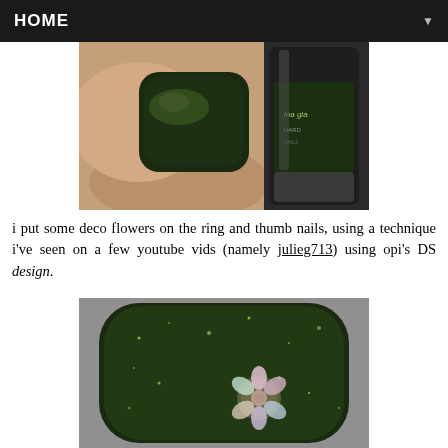HOME ▼
[Figure (photo): Close-up photo of a finger with dark green metallic nail polish next to a China Glaze nail polish bottle]
i put some deco flowers on the ring and thumb nails, using a technique i've seen on a few youtube vids (namely julieg713) using opi's DS design.
[Figure (photo): Close-up macro photo of a nail painted with dark green glittery polish and a decorative flower embellishment on top]